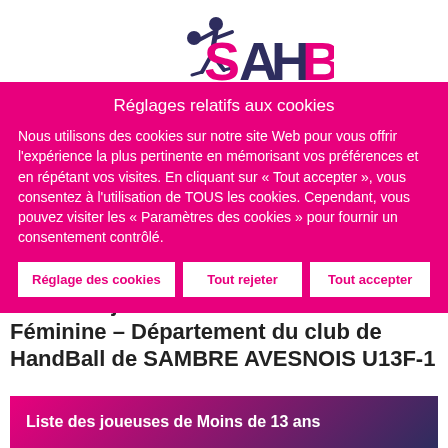[Figure (logo): SAHB handball club logo — stylized player figure in dark navy with 'SAHB' text in pink and dark colors]
Réglages relatifs aux cookies
Nous utilisons des cookies sur notre site Web pour vous offrir l'expérience la plus pertinente en mémorisant vos préférences et en répétant vos visites. En cliquant sur « Tout accepter », vous consentez à l'utilisation de TOUS les cookies. Cependant, vous pouvez visiter les « Paramètres des cookies » pour fournir un consentement contrôlé.
Réglage des cookies
Tout rejeter
Tout accepter
Liste des joueuses de Moins de 13 ans Féminine – Département du club de HandBall de SAMBRE AVESNOIS U13F-1
Liste des joueuses de Moins de 13 ans